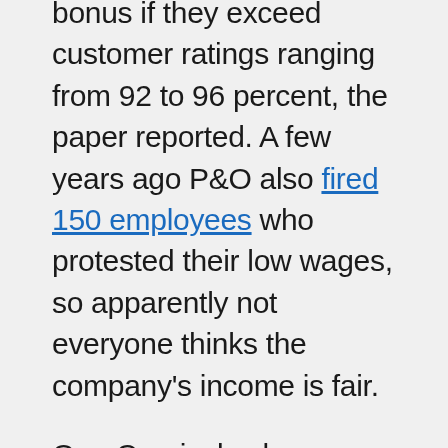bonus if they exceed customer ratings ranging from 92 to 96 percent, the paper reported. A few years ago P&O also fired 150 employees who protested their low wages, so apparently not everyone thinks the company's income is fair.
One Carnival salary we do know, though, is Donald's: Last year he was paid close to $9.4 million, the St. Louis Business Journal reported.
Most crew members come from countries with much lower incomes, and whether they should be paid U.S. wages is controversial. But, considering the expensive flights to visit families back home, the fact that the ship sails out of Miami, and